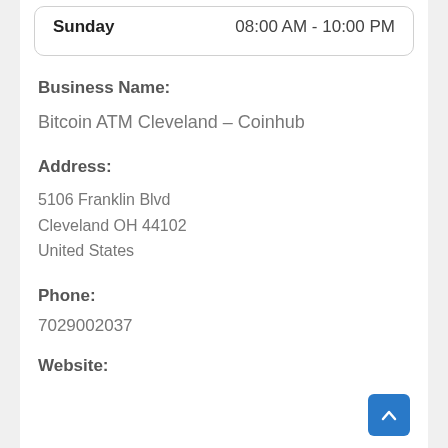| Day | Hours |
| --- | --- |
| Sunday | 08:00 AM - 10:00 PM |
Business Name:
Bitcoin ATM Cleveland – Coinhub
Address:
5106 Franklin Blvd
Cleveland OH 44102
United States
Phone:
7029002037
Website: